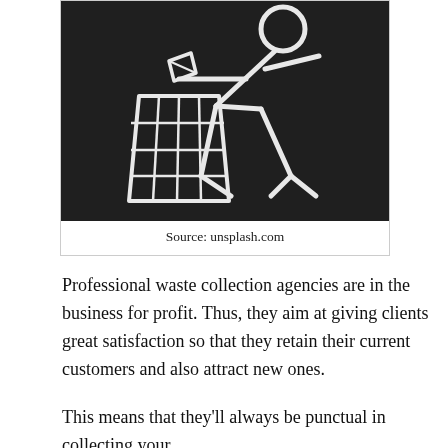[Figure (photo): A chalk drawing on a dark blackboard surface showing a stick figure person throwing paper into a trash/recycling bin — the universal litter/recycling icon drawn in white chalk lines.]
Source: unsplash.com
Professional waste collection agencies are in the business for profit. Thus, they aim at giving clients great satisfaction so that they retain their current customers and also attract new ones.
This means that they'll always be punctual in collecting your